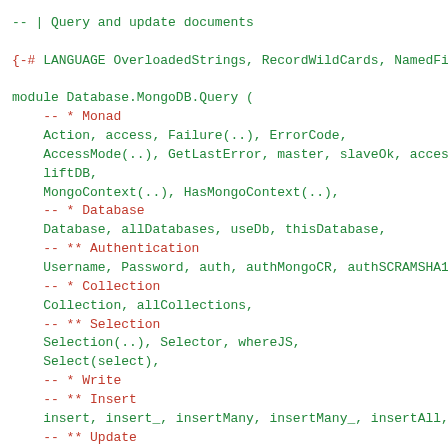-- | Query and update documents
{-# LANGUAGE OverloadedStrings, RecordWildCards, NamedFie

module Database.MongoDB.Query (
    -- * Monad
    Action, access, Failure(..), ErrorCode,
    AccessMode(..), GetLastError, master, slaveOk, access
    liftDB,
    MongoContext(..), HasMongoContext(..),
    -- * Database
    Database, allDatabases, useDb, thisDatabase,
    -- ** Authentication
    Username, Password, auth, authMongoCR, authSCRAMSHA1,
    -- * Collection
    Collection, allCollections,
    -- ** Selection
    Selection(..), Selector, whereJS,
    Select(select),
    -- * Write
    -- ** Insert
    insert, insert_, insertMany, insertMany_, insertAll,
    -- ** Update
    save, replace, repsert, upsert, Modifier, modify, upc
    WriteResult(..), UpdateOption(..), Upserted(..),
    -- ** Delete
    delete, deleteOne, deleteMany, deleteAll, DeleteOptic
    -- * Read
    -- ** Query